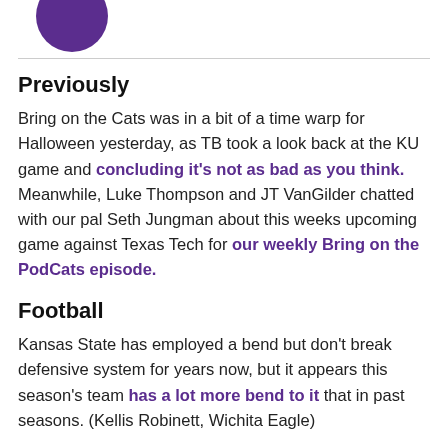[Figure (illustration): Purple circular avatar/logo in top left corner]
Previously
Bring on the Cats was in a bit of a time warp for Halloween yesterday, as TB took a look back at the KU game and concluding it's not as bad as you think. Meanwhile, Luke Thompson and JT VanGilder chatted with our pal Seth Jungman about this weeks upcoming game against Texas Tech for our weekly Bring on the PodCats episode.
Football
Kansas State has employed a bend but don't break defensive system for years now, but it appears this season's team has a lot more bend to it that in past seasons. (Kellis Robinett, Wichita Eagle)